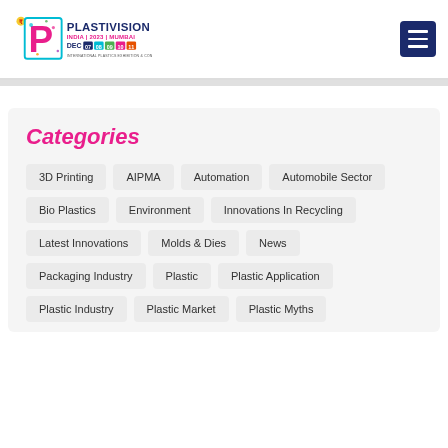[Figure (logo): Plastivision India 2023 Mumbai logo with large pink P and date DEC 07 08 09 10 11, International Plastics Exhibition & Conference]
Categories
3D Printing
AIPMA
Automation
Automobile Sector
Bio Plastics
Environment
Innovations In Recycling
Latest Innovations
Molds & Dies
News
Packaging Industry
Plastic
Plastic Application
Plastic Industry
Plastic Market
Plastic Myths